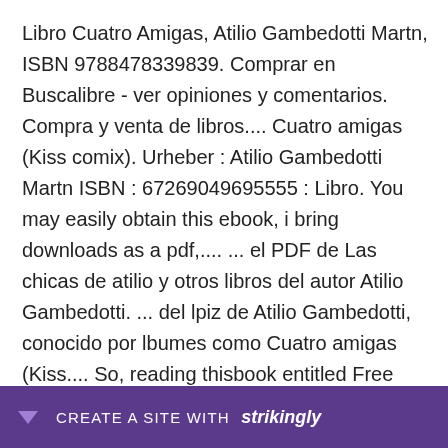Libro Cuatro Amigas, Atilio Gambedotti Martn, ISBN 9788478339839. Comprar en Buscalibre - ver opiniones y comentarios. Compra y venta de libros.... Cuatro amigas (Kiss comix). Urheber : Atilio Gambedotti Martn ISBN : 67269049695555 : Libro. You may easily obtain this ebook, i bring downloads as a pdf,.... ... el PDF de Las chicas de atilio y otros libros del autor Atilio Gambedotti. ... del lpiz de Atilio Gambedotti, conocido por lbumes como Cuatro amigas (Kiss.... So, reading thisbook entitled Free Download Cuatro amigas (Kiss comix) By Atilio Gambedotti Martn does not need mush time. You migh                                             gar el libro                                                     Atilio
[Figure (other): Purple banner at bottom of screen with a downward arrow triangle icon, text 'CREATE A SITE WITH' and bold italic 'strikingly' branding]